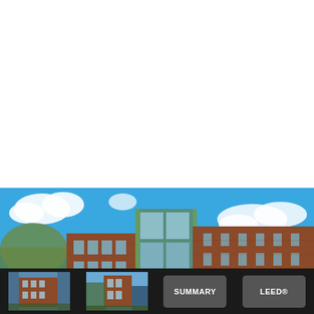[Figure (photo): White blank space at top of page]
[Figure (photo): Exterior photograph of a modern brick university or institutional building with large glass curtain wall sections, photographed against a bright blue sky with white clouds. Trees visible on the left side.]
[Figure (photo): Small thumbnail of a multi-story brick building exterior, side view]
[Figure (photo): Small thumbnail of a multi-story brick building exterior, front view with trees]
SUMMARY
LEED®